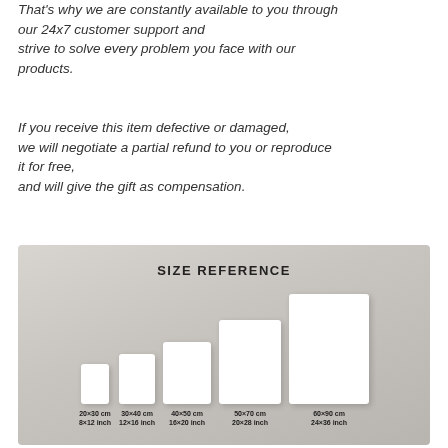That's why we are constantly available to you through our 24x7 customer support and strive to solve every problem you face with our products.
If you receive this item defective or damaged, we will negotiate a partial refund to you or reproduce it for free, and will give the gift as compensation.
[Figure (infographic): Size reference chart showing 5 white rectangular frames of increasing sizes on a grey background. Sizes shown: 20×30 cm / 8×12 inch, 30×40 cm / 12×16 inch, 40×50 cm / 16×20 inch, 50×70 cm / 20×28 inch, 60×90 cm / 24×36 inch. Title reads SIZE REFERENCE.]